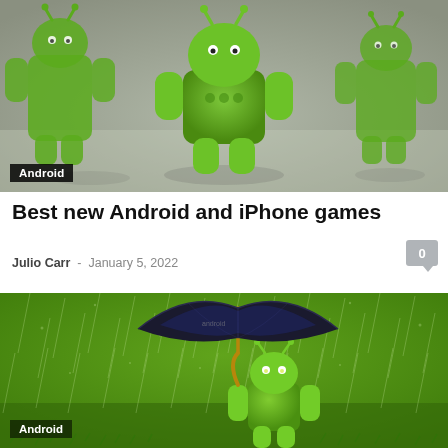[Figure (photo): Android robot figurines on a blurred grey surface, multiple green Android mascots in background]
Android
Best new Android and iPhone games
Julio Carr  -  January 5, 2022
[Figure (photo): Android robot mascot holding a black umbrella in the rain on a green background, with Android badge overlay]